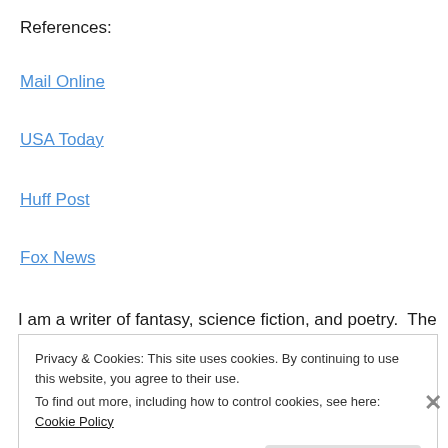References:
Mail Online
USA Today
Huff Post
Fox News
I am a writer of fantasy, science fiction, and poetry.  The
Privacy & Cookies: This site uses cookies. By continuing to use this website, you agree to their use.
To find out more, including how to control cookies, see here: Cookie Policy
Close and accept